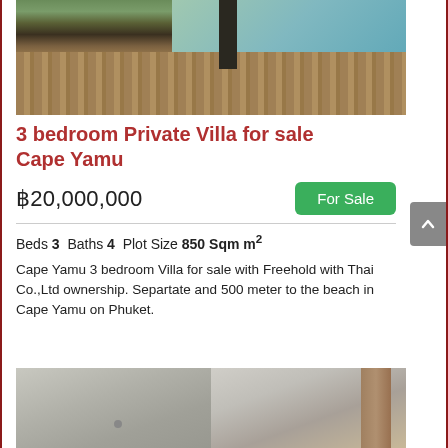[Figure (photo): Outdoor pool area with wooden deck and dark pillar, greenery visible in background]
3 bedroom Private Villa for sale Cape Yamu
฿20,000,000   For Sale
Beds 3  Baths 4  Plot Size 850 Sqm m²
Cape Yamu 3 bedroom Villa for sale with Freehold with Thai Co.,Ltd ownership. Separtate and 500 meter to the beach in Cape Yamu on Phuket.
[Figure (photo): Interior bathroom/room photos split into two panels showing white walls and wooden furniture]